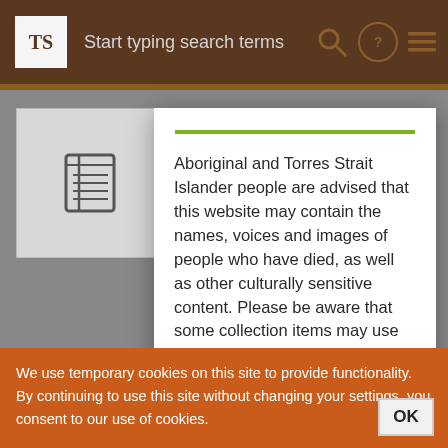Start typing search terms
Aboriginal and Torres Strait Islander people are advised that this website may contain the names, voices and images of people who have died, as well as other culturally sensitive content. Please be aware that some collection items may use outdated phrases or words which reflect the attitude of the creator at the time, and are now considered offensive
We use temporary cookies on this site to provide functionality.
By continuing to use this site without changing your settings, you consent to our use of cookies.
OK